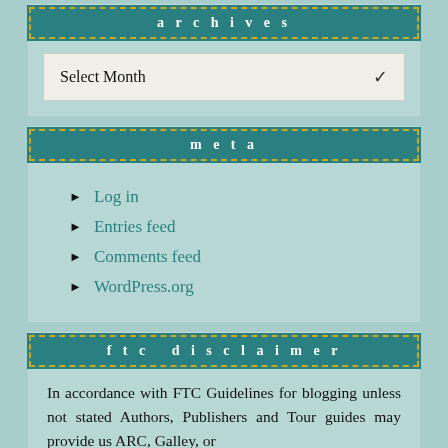archives
Select Month
meta
Log in
Entries feed
Comments feed
WordPress.org
ftc disclaimer
In accordance with FTC Guidelines for blogging unless not stated Authors, Publishers and Tour guides may provide us ARC, Galley, or